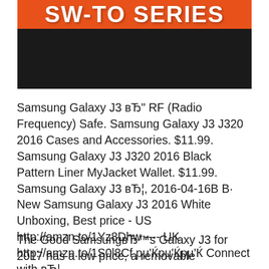[Figure (other): Header banner with orange bar containing partial text 'SW-TO SERIES' and black bar below]
Samsung Galaxy J3 вЂ" RF (Radio Frequency) Safe. Samsung Galaxy J3 J320 2016 Cases and Accessories. $11.99. Samsung Galaxy J3 J320 2016 Black Pattern Liner MyJacket Wallet. $11.99. Samsung Galaxy J3 вЂ¦, 2016-04-16В В· New Samsung Galaxy J3 2016 White Unboxing, Best price - US http://amzn.to/1Yz8Dhw ---- UK http://amzn.to/1S0l8Cf рµ'Ќрµ'Ќрµ'Ќ Connect with вЂ¦.
The Good SamsungвЂ™s Galaxy J3 for 2017 has a low price, a removable